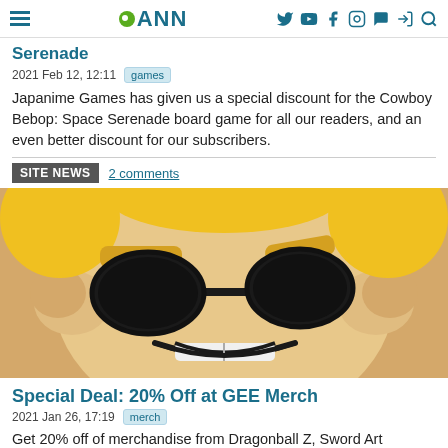ANN – Anime News Network header with navigation icons
Serenade
2021 Feb 12, 12:11  games
Japanime Games has given us a special discount for the Cowboy Bebop: Space Serenade board game for all our readers, and an even better discount for our subscribers.
SITE NEWS  2 comments
[Figure (photo): Close-up photo of an anime-style plush toy face with large black eyes, yellow eyebrows, blond hair, and a smirking mouth with white teeth]
Special Deal: 20% Off at GEE Merch
2021 Jan 26, 17:19  merch
Get 20% off of merchandise from Dragonball Z, Sword Art Online, My Hero Academia, Demon Slayer, and more.